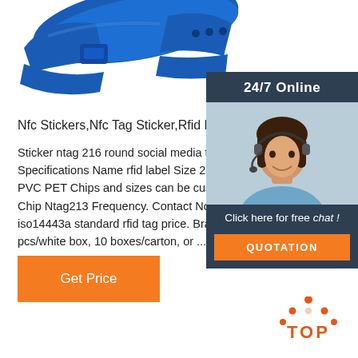[Figure (photo): Blue silicone RFID wristband/bracelet product photo, cropped at top]
[Figure (photo): Sidebar with 24/7 Online banner, customer service representative wearing headset, Click here for free chat text and QUOTATION button]
Nfc Stickers,Nfc Tag Sticker,Rfid Label Price ...
Sticker ntag 216 round social media tag. Brand: Xinye. Specifications Name rfid label Size 25mm Material G PVC PET Chips and sizes can be customized RF Sp Chip Ntag213 Frequency. Contact Now. NFC tag 13 iso14443a standard rfid tag price. Brand: Xinye. Pac pcs/white box, 10 boxes/carton, or ...
[Figure (other): Orange Get Price button]
[Figure (other): TOP badge with orange dot triangle and TOP text in orange]